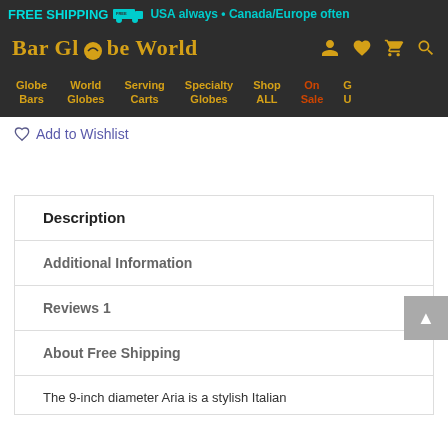FREE SHIPPING — FREE truck icon — USA always · Canada/Europe often
Bar Globe World
Globe Bars | World Globes | Serving Carts | Specialty Globes | Shop ALL | On Sale | G U
Add to Wishlist
Description
Additional Information
Reviews 1
About Free Shipping
The 9-inch diameter Aria is a stylish Italian